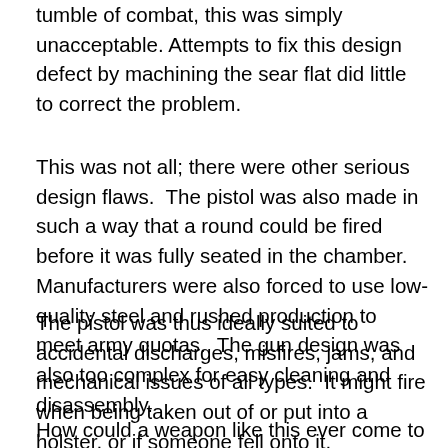tumble of combat, this was simply unacceptable. Attempts to fix this design defect by machining the sear flat did little to correct the problem.
This was not all; there were other serious design flaws. The pistol was also made in such a way that a round could be fired before it was fully seated in the chamber. Manufacturers were also forced to use low-quality steel and rushed production to meet army quotas. The gun design was also too complex for easy cleaning and disassembly.
The pistol was thus ideally suited to accidental discharges, misfires, jams, and mechanical issues of all types. It might fire when being taken out of or put into a holster, or if someone fell onto it.
How could a weapon like this ever come to be made? The